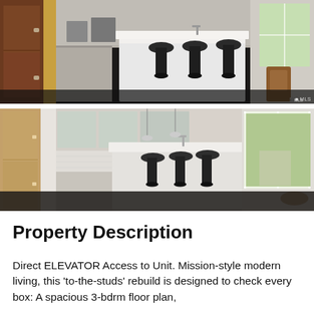[Figure (photo): Interior kitchen photo showing dark hardwood floors, a white marble island with black bar stools, dark wood cabinetry, and a dining area with wooden chairs to the right. Watermark in bottom-right corner.]
[Figure (photo): Second interior kitchen photo showing light wood and white cabinetry, a white marble island with black bar stools, pendant lights, large windows with view of trees and neighboring buildings.]
Property Description
Direct ELEVATOR Access to Unit. Mission-style modern living, this 'to-the-studs' rebuild is designed to check every box: A spacious 3-bdrm floor plan,